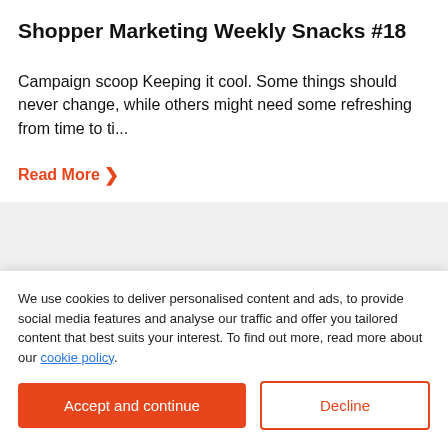Shopper Marketing Weekly Snacks #18
Campaign scoop Keeping it cool. Some things should never change, while others might need some refreshing from time to ti…
Read More ❯
Any questions or
We use cookies to deliver personalised content and ads, to provide social media features and analyse our traffic and offer you tailored content that best suits your interest. To find out more, read more about our cookie policy.
Accept and continue
Decline